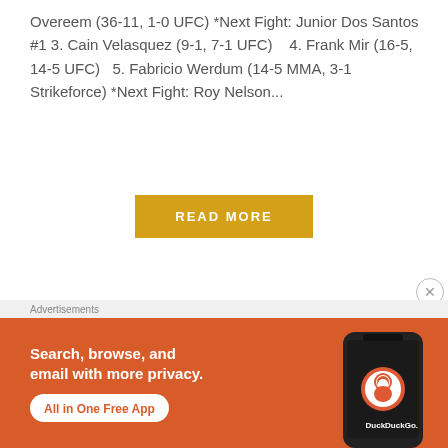Overeem (36-11, 1-0 UFC) *Next Fight: Junior Dos Santos #1 3. Cain Velasquez (9-1, 7-1 UFC)    4. Frank Mir (16-5, 14-5 UFC)   5. Fabricio Werdum (14-5 MMA, 3-1 Strikeforce) *Next Fight: Roy Nelson...
[Figure (other): Yellow 'READ MORE' button]
[Figure (other): Horizontal divider line with centered circle icon containing three horizontal lines]
[Figure (other): Circle close/dismiss button with X symbol]
Advertisements
[Figure (infographic): DuckDuckGo advertisement banner on orange background. Text: 'Search, browse, and email with more privacy. All in One Free App' with DuckDuckGo logo and phone graphic.]